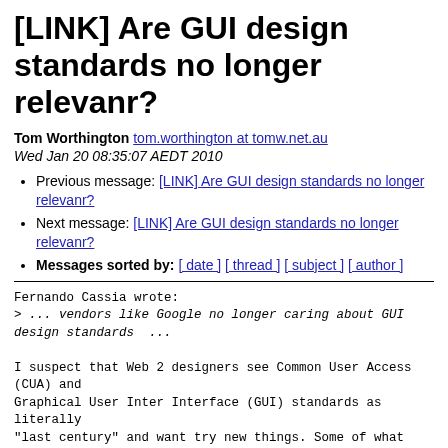[LINK] Are GUI design standards no longer relevanr?
Tom Worthington tom.worthington at tomw.net.au
Wed Jan 20 08:35:07 AEDT 2010
Previous message: [LINK] Are GUI design standards no longer relevanr?
Next message: [LINK] Are GUI design standards no longer relevanr?
Messages sorted by: [ date ] [ thread ] [ subject ] [ author ]
Fernando Cassia wrote:
> ... vendors like Google no longer caring about GUI design standards  ...

I suspect that Web 2 designers see Common User Access (CUA) and
Graphical User Inter Interface (GUI) standards as literally
"last century" and want try new things. Some of what they do may be good
enough to become a new commonly used and codified
interface, but much